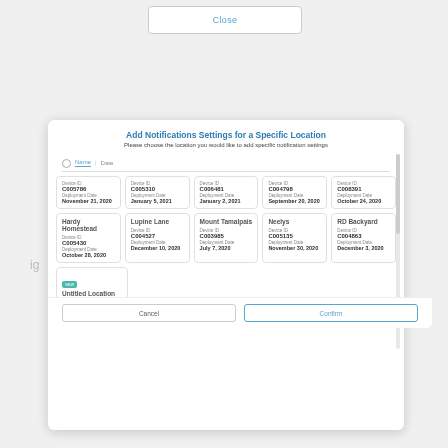Close
Add Notifications Settings for a Specific Location
Please choose the location you would like to add specific notification settings
| Device ID | Deployment Date | Device ID | Deployment Date | Device ID | Deployment Date | Device ID | Deployment Date | Device ID | Deployment Date |
| --- | --- | --- | --- | --- | --- | --- | --- | --- | --- |
| C005786 | November 21, 2020 | C005310 | January 5, 2021 | C006481 | January 2, 2021 | C004798 | September 20, 2020 | C008391 | October 24, 2020 |
| Hardy Homestead
C005430
October 28, 2020 |  | Lupine Lane
C004527
December 10, 2020 |  | Mount Tamalpais
C003985
July 7, 2020 |  | Neelys
C005135
November 30, 2020 |  | RD Backyard
C004863
December 3, 2020 |  |
| NEW
Untitled Location
C005157
November 15, 2020 |  |  |  |  |  |  |  |  |  |
Cancel
Confirm